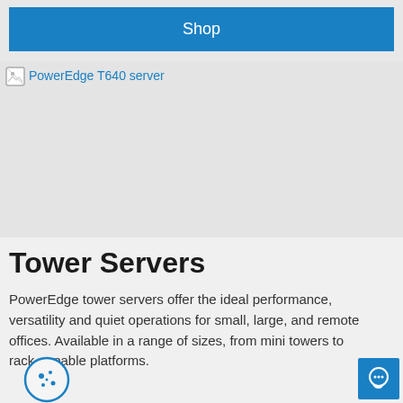[Figure (other): Blue Shop button / call-to-action]
[Figure (photo): PowerEdge T640 server image placeholder with broken image icon and alt text label]
Tower Servers
PowerEdge tower servers offer the ideal performance, versatility and quiet operations for small, large, and remote offices. Available in a range of sizes, from mini towers to rack-capable platforms.